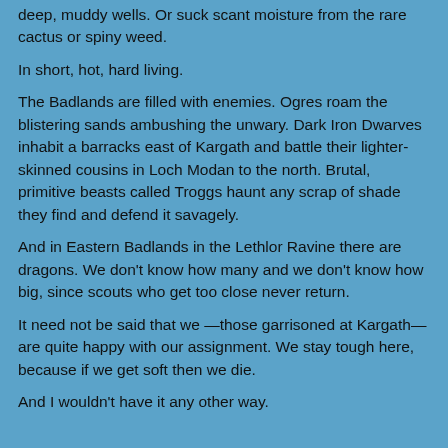deep, muddy wells.  Or suck scant moisture from the rare cactus or spiny weed.
In short, hot, hard living.
The Badlands are filled with enemies.  Ogres roam the blistering sands ambushing the unwary.  Dark Iron Dwarves inhabit a barracks east of Kargath and battle their lighter-skinned cousins in Loch Modan to the north.  Brutal, primitive beasts called Troggs haunt any scrap of shade they find and defend it savagely.
And in Eastern Badlands in the Lethlor Ravine there are dragons.  We don't know how many and we don't know how big, since scouts who get too close never return.
It need not be said that we —those garrisoned at Kargath— are quite happy with our assignment.  We stay tough here, because if we get soft then we die.
And I wouldn't have it any other way.